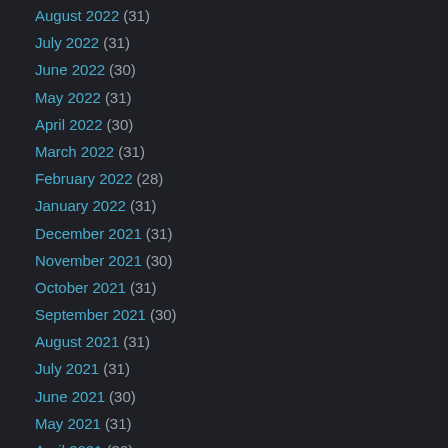August 2022 (31)
July 2022 (31)
June 2022 (30)
May 2022 (31)
April 2022 (30)
March 2022 (31)
February 2022 (28)
January 2022 (31)
December 2021 (31)
November 2021 (30)
October 2021 (31)
September 2021 (30)
August 2021 (31)
July 2021 (31)
June 2021 (30)
May 2021 (31)
April 2021 (30)
March 2021 (31)
February 2021 (28)